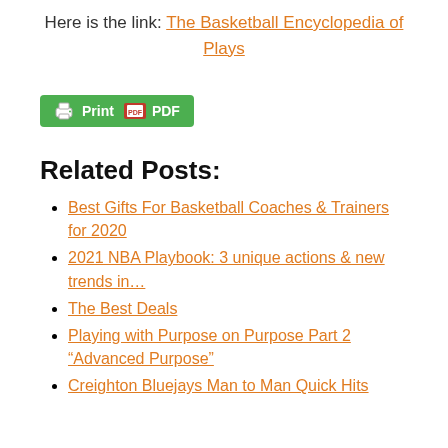Here is the link: The Basketball Encyclopedia of Plays
[Figure (other): Green Print PDF button with printer icon and PDF icon]
Related Posts:
Best Gifts For Basketball Coaches & Trainers for 2020
2021 NBA Playbook: 3 unique actions & new trends in…
The Best Deals
Playing with Purpose on Purpose Part 2 “Advanced Purpose”
Creighton Bluejays Man to Man Quick Hits